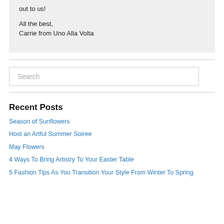out to us!
All the best,
Carrie from Uno Alla Volta
Search
Recent Posts
Season of Sunflowers
Host an Artful Summer Soiree
May Flowers
4 Ways To Bring Artistry To Your Easter Table
5 Fashion Tips As You Transition Your Style From Winter To Spring